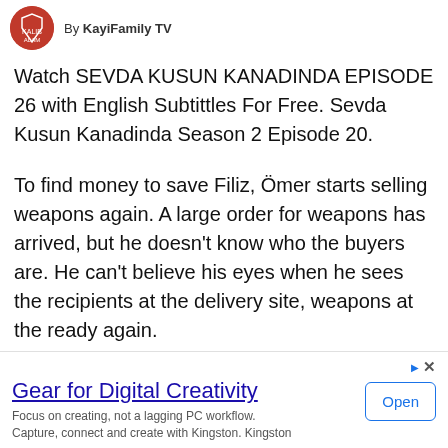By KayiFamily TV
Watch SEVDA KUSUN KANADINDA EPISODE 26 with English Subtittles For Free. Sevda Kusun Kanadinda Season 2 Episode 20.
To find money to save Filiz, Ömer starts selling weapons again. A large order for weapons has arrived, but he doesn't know who the buyers are. He can't believe his eyes when he sees the recipients at the delivery site, weapons at the ready again.
[Figure (other): Chevron/down arrow button in a rounded rectangle]
Gear for Digital Creativity
Focus on creating, not a lagging PC workflow. Capture, connect and create with Kingston. Kingston
Open